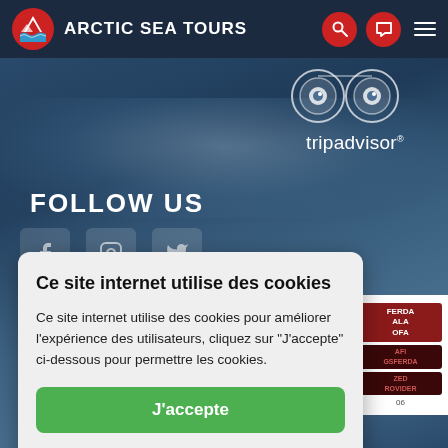ARCTIC SEA TOURS
[Figure (logo): Tripadvisor owl logo with circular design and text 'tripadvisor*']
FOLLOW US
[Figure (other): Badge/award card on right side with text: FERDA, ALA, OFA, AFI, GSFERDA, ZED ROVIDER, 06]
Ce site internet utilise des cookies
Ce site internet utilise des cookies pour améliorer l'expérience des utilisateurs, cliquez sur "J'accepte" ci-dessous pour permettre les cookies.
J'accepte
Lire plus
Je n'accepte pas